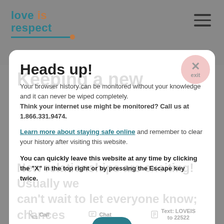love is respect
Heads up!
Your browser history can be monitored without your knowledge and it can never be wiped completely. Think your internet use might be monitored? Call us at 1.866.331.9474.
Learn more about staying safe online and remember to clear your history after visiting this website.
You can quickly leave this website at any time by clicking the "X" in the top right or by pressing the Escape key twice.
Call  Chat  Text: LOVEIS to 22522